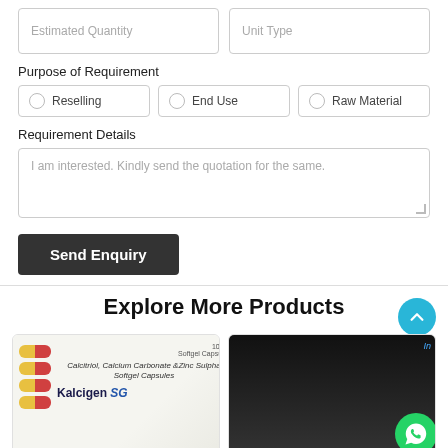Estimated Quantity
Unit Type
Purpose of Requirement
Reselling
End Use
Raw Material
Requirement Details
I am interested. Kindly send the quotation for the same.
Send Enquiry
Explore More Products
[Figure (photo): Product card showing Kalcigen SG - Calcitriol, Calcium Carbonate & Zinc Sulphate Softgel Capsules, 10x10 Softgel Capsules blister pack with red and yellow capsules]
[Figure (photo): Partial product card with dark background]